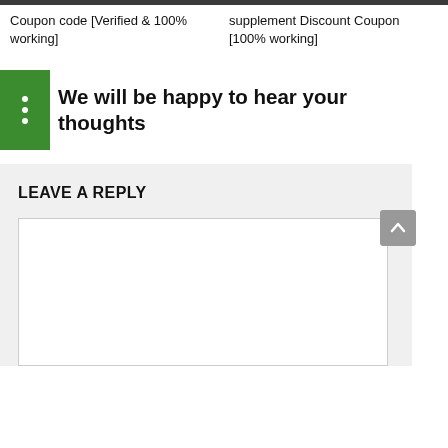Coupon code [Verified & 100% working]
supplement Discount Coupon [100% working]
We will be happy to hear your thoughts
LEAVE A REPLY
[Figure (other): Empty comment text area box for user input]
[Figure (other): Scroll-to-top button (grey arrow up)]